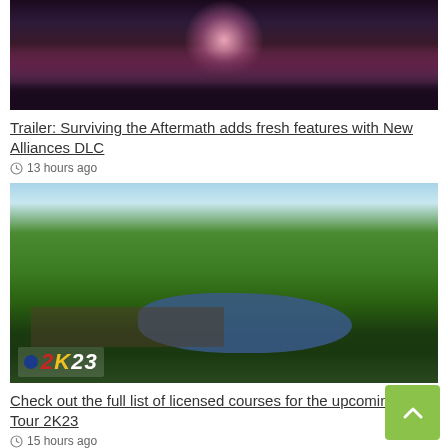[Figure (screenshot): Dark atmospheric image with reddish-purple glowing light emanating from rocky structures, likely from the game Surviving the Aftermath]
Trailer: Surviving the Aftermath adds fresh features with New Alliances DLC
13 hours ago
[Figure (screenshot): Aerial view of a golf course with green fairways, a large water hazard, crowds of spectators, and the PGA Tour 2K23 logo in the bottom-left corner]
Check out the full list of licensed courses for the upcoming PGA Tour 2K23
15 hours ago